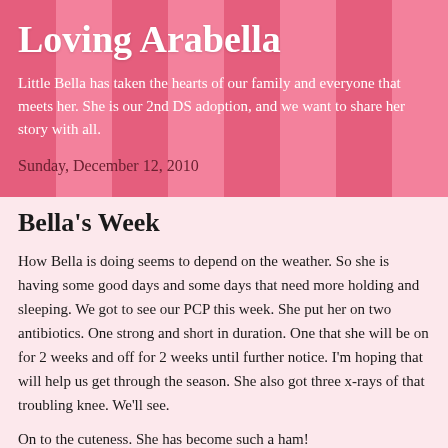Loving Arabella
Little Bella has taken the hearts of our family and everyone that meets her. She is our 2nd DS adoption, and we want to share her story with all.
Sunday, December 12, 2010
Bella's Week
How Bella is doing seems to depend on the weather.  So she is having some good days and some days that need more holding and sleeping.  We got to see our PCP this week.  She put her on two antibiotics.  One strong and short in duration.  One that she will be on for 2 weeks and off for 2 weeks until further notice.  I'm hoping that will help us get through the season.  She also got three x-rays of that troubling knee.  We'll see.
On to the cuteness.  She has become such a ham!